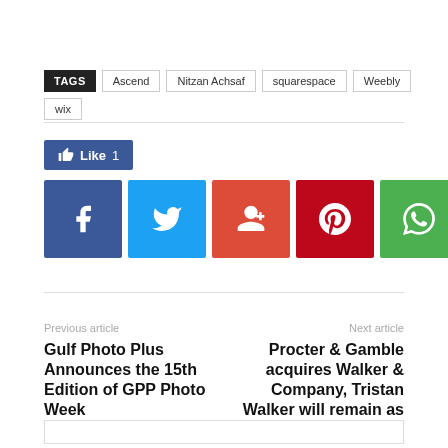TAGS  Ascend  Nitzan Achsaf  squarespace  Weebly  wix
[Figure (infographic): Facebook Like button showing count of 1, and social share buttons: Facebook (dark blue), Twitter (light blue), Google+ (orange-red), Pinterest (dark red), WhatsApp (green)]
Previous article
Gulf Photo Plus Announces the 15th Edition of GPP Photo Week
Next article
Procter & Gamble acquires Walker & Company, Tristan Walker will remain as CEO